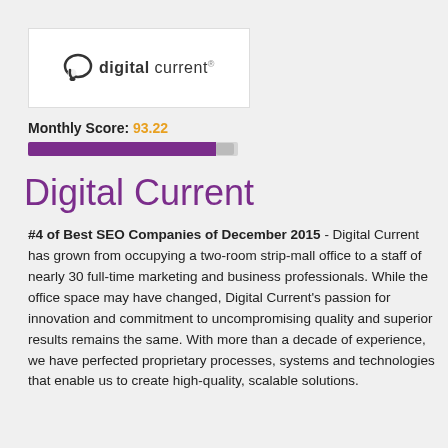[Figure (logo): Digital Current logo: speech bubble icon followed by 'digital current' text with trademark symbol]
Monthly Score: 93.22
[Figure (infographic): Purple progress bar showing score of 93.22 out of 100]
Digital Current
#4 of Best SEO Companies of December 2015 - Digital Current has grown from occupying a two-room strip-mall office to a staff of nearly 30 full-time marketing and business professionals. While the office space may have changed, Digital Current's passion for innovation and commitment to uncompromising quality and superior results remains the same. With more than a decade of experience, we have perfected proprietary processes, systems and technologies that enable us to create high-quality, scalable solutions.